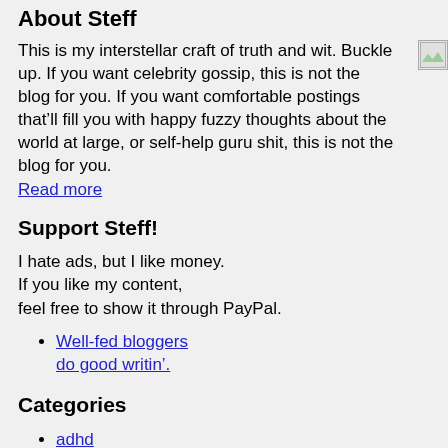About Steff
This is my interstellar craft of truth and wit. Buckle up. If you want celebrity gossip, this is not the blog for you. If you want comfortable postings that’ll fill you with happy fuzzy thoughts about the world at large, or self-help guru shit, this is not the blog for you.
Read more
Support Steff!
I hate ads, but I like money.
If you like my content,
feel free to show it through PayPal.
Well-fed bloggers do good writin’.
Categories
adhd
Advice
aging
AIDS & STDs
Autobiographical